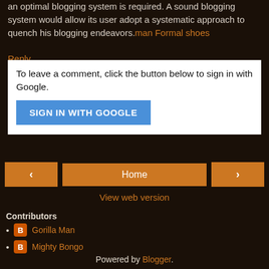an optimal blogging system is required. A sound blogging system would allow its user adopt a systematic approach to quench his blogging endeavors. man Formal shoes
Reply
To leave a comment, click the button below to sign in with Google.
SIGN IN WITH GOOGLE
[Figure (other): Navigation bar with left arrow button, Home button, and right arrow button, all in orange/brown color]
View web version
Contributors
Gorilla Man
Mighty Bongo
Powered by Blogger.